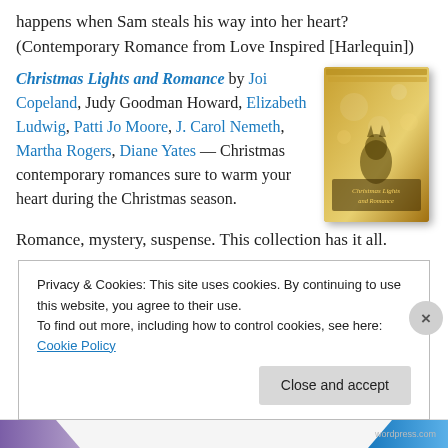happens when Sam steals his way into her heart? (Contemporary Romance from Love Inspired [Harlequin])
Christmas Lights and Romance by Joi Copeland, Judy Goodman Howard, Elizabeth Ludwig, Patti Jo Moore, J. Carol Nemeth, Martha Rogers, Diane Yates — Christmas contemporary romances sure to warm your heart during the Christmas season.
Romance, mystery, suspense. This collection has it all.
[Figure (photo): Book cover of 'Christmas Lights and Romance' — a gold-toned box set of multiple books]
Privacy & Cookies: This site uses cookies. By continuing to use this website, you agree to their use.
To find out more, including how to control cookies, see here: Cookie Policy
Close and accept